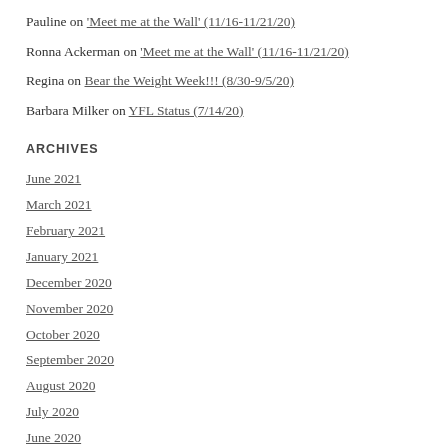Pauline on 'Meet me at the Wall' (11/16-11/21/20)
Ronna Ackerman on 'Meet me at the Wall' (11/16-11/21/20)
Regina on Bear the Weight Week!!! (8/30-9/5/20)
Barbara Milker on YFL Status (7/14/20)
ARCHIVES
June 2021
March 2021
February 2021
January 2021
December 2020
November 2020
October 2020
September 2020
August 2020
July 2020
June 2020